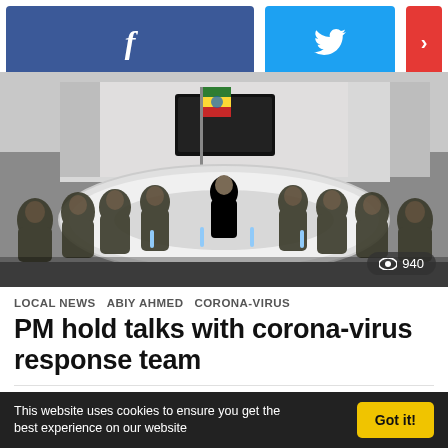[Figure (other): Social sharing buttons: Facebook (blue), Twitter (blue), and a red more/share button with arrow]
[Figure (photo): Meeting room with a large oval/round table, many military personnel seated around it, an Ethiopian flag visible, a screen at the far end, and a person seated at the head of the table. View count badge showing 940.]
LOCAL NEWS   ABIY AHMED   CORONA-VIRUS
PM hold talks with corona-virus response team
by Solomon Yimer
This website uses cookies to ensure you get the best experience on our website